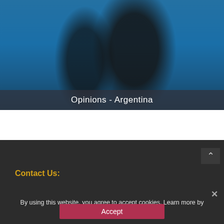[Figure (photo): Two tango dancers performing in front of a bright blue wall. The woman wears a black dress with a red flower in her hair; the man wears a black suit. A small decorative blue figurine is visible on the wall behind them.]
Opinions - Argentina
Contact Us:
By using this website, you agree to accept cookies. Learn more by reading our cookie policy.
Accept